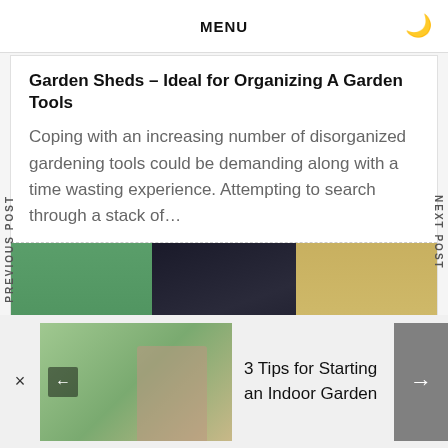MENU
Garden Sheds – Ideal for Organizing A Garden Tools
Coping with an increasing number of disorganized gardening tools could be demanding along with a time wasting experience. Attempting to search through a stack of…
[Figure (photo): Bathroom interior showing three panels: green-tinted glass/wall on left, dark marble wall in center, and warm-toned bathroom with window on right]
[Figure (photo): Thumbnail of a person working on an indoor garden project]
3 Tips for Starting an Indoor Garden